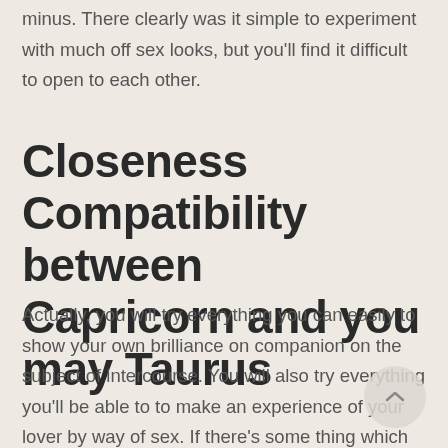minus. There clearly was it simple to experiment with much off sex looks, but you'll find it difficult to open to each other.
Closeness Compatibility between Capricorn and you may Taurus
Actually, you will try everything you can easily to show your own brilliance on companion on the subject of intercourse. You will also try everything you'll be able to to make an experience of your lover by way of sex. If there's some thing which you